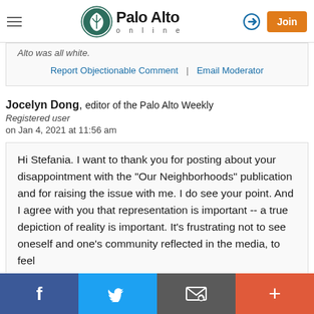Palo Alto online — navigation bar with hamburger menu, logo, login icon, and Join button
Alto was all white.
Report Objectionable Comment | Email Moderator
Jocelyn Dong, editor of the Palo Alto Weekly
Registered user
on Jan 4, 2021 at 11:56 am
Hi Stefania. I want to thank you for posting about your disappointment with the "Our Neighborhoods" publication and for raising the issue with me. I do see your point. And I agree with you that representation is important -- a true depiction of reality is important. It's frustrating not to see oneself and one's community reflected in the media, to feel
Share buttons: Facebook, Twitter, Email, More